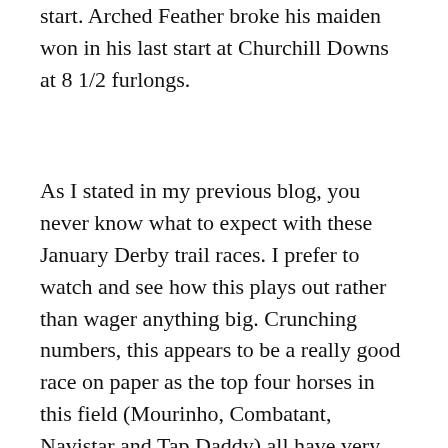start. Arched Feather broke his maiden won in his last start at Churchill Downs at 8 1/2 furlongs.
As I stated in my previous blog, you never know what to expect with these January Derby trail races. I prefer to watch and see how this plays out rather than wager anything big. Crunching numbers, this appears to be a really good race on paper as the top four horses in this field (Mourinho, Combatant, Navistar and Tap Daddy) all have very similar closing speeds. So I am expecting a close race. And my hunch is that there are at least two future Kentucky Derby runners in this field.